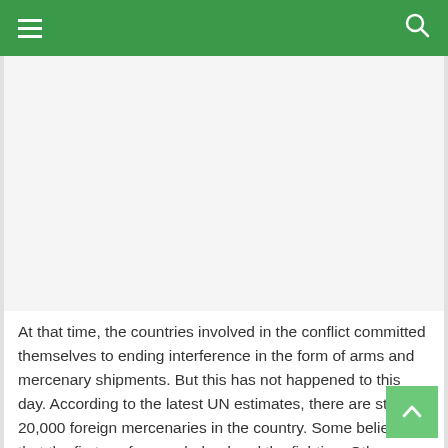Navigation bar with hamburger menu and search icon
[Figure (other): Advertisement or image placeholder area (white/gray rectangle)]
At that time, the countries involved in the conflict committed themselves to ending interference in the form of arms and mercenary shipments. But this has not happened to this day. According to the latest UN estimates, there are still 20,000 foreign mercenaries in the country. Some believe that the first conference helped end the fighting. Others argue that the current ceasefire is not